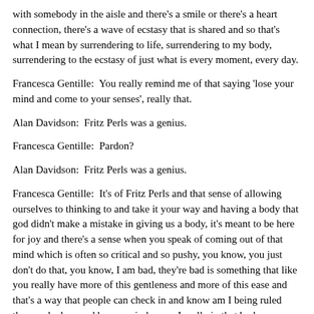with somebody in the aisle and there’s a smile or there’s a heart connection, there’s a wave of ecstasy that is shared and so that’s what I mean by surrendering to life, surrendering to my body, surrendering to the ecstasy of just what is every moment, every day.
Francesca Gentille:  You really remind me of that saying ‘lose your mind and come to your senses’, really that.
Alan Davidson:  Fritz Perls was a genius.
Francesca Gentille:  Pardon?
Alan Davidson:  Fritz Perls was a genius.
Francesca Gentille:  It’s of Fritz Perls and that sense of allowing ourselves to thinking to and take it your way and having a body that god didn’t make a mistake in giving us a body, it’s meant to be here for joy and there’s a sense when you speak of coming out of that mind which is often so critical and so pushy, you know, you just don’t do that, you know, I am bad, they’re bad is something that like you really have more of this gentleness and more of this ease and that’s a way that people can check in and know am I being ruled then pushed around by my mind or am I really in that body brilliance, that wisdom of the body.